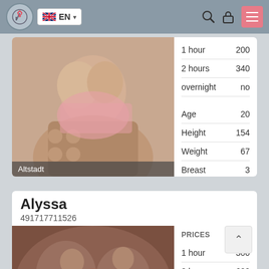EN (navigation bar with logo, language selector, search, lock, and menu icons)
[Figure (photo): Person in pink lingerie on bed, location label 'Altstadt']
| 1 hour | 200 |
| 2 hours | 340 |
| overnight | no |
| Age | 20 |
| Height | 154 |
| Weight | 67 |
| Breast | 3 |
Alyssa
491717711526
[Figure (photo): Close-up photo]
| PRICES |
| --- |
| 1 hour | 300 |
| 2 hours | 600 |
| overnight | no |